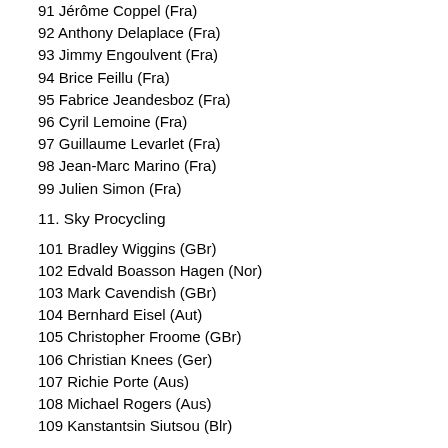91 Jérôme Coppel (Fra)
92 Anthony Delaplace (Fra)
93 Jimmy Engoulvent (Fra)
94 Brice Feillu (Fra)
95 Fabrice Jeandesboz (Fra)
96 Cyril Lemoine (Fra)
97 Guillaume Levarlet (Fra)
98 Jean-Marc Marino (Fra)
99 Julien Simon (Fra)
11. Sky Procycling
101 Bradley Wiggins (GBr)
102 Edvald Boasson Hagen (Nor)
103 Mark Cavendish (GBr)
104 Bernhard Eisel (Aut)
105 Christopher Froome (GBr)
106 Christian Knees (Ger)
107 Richie Porte (Aus)
108 Michael Rogers (Aus)
109 Kanstantsin Siutsou (Blr)
12. Lotto Belisol Team
111 Jurgen Van Den Broeck (Bel)
112 Lars Ytting Bak (Den)
113 Francis De Greef (Bel)
114 Andre Greipel (Ger)
115 Adam Hansen (Aus)